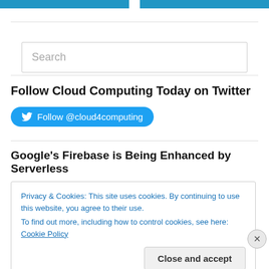[Figure (screenshot): Search box input field with placeholder text 'Search']
Follow Cloud Computing Today on Twitter
[Figure (infographic): Twitter follow button: Follow @cloud4computing]
Google's Firebase is Being Enhanced by Serverless
Privacy & Cookies: This site uses cookies. By continuing to use this website, you agree to their use. To find out more, including how to control cookies, see here: Cookie Policy
Close and accept